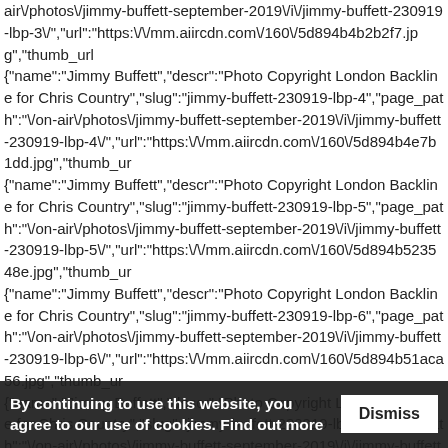air\/photos\/jimmy-buffett-september-2019\/i\/jimmy-buffett-230919-lbp-3\/","url":"https:\/\/mm.aiircdn.com\/160\/5d894b4b2b2f7.jpg","thumb_url": {"name":"Jimmy Buffett","descr":"Photo Copyright London Backline for Chris Country","slug":"jimmy-buffett-230919-lbp-4","page_path":"\/on-air\/photos\/jimmy-buffett-september-2019\/i\/jimmy-buffett-230919-lbp-4\/","url":"https:\/\/mm.aiircdn.com\/160\/5d894b4e7b1dd.jpg","thumb_ur": {"name":"Jimmy Buffett","descr":"Photo Copyright London Backline for Chris Country","slug":"jimmy-buffett-230919-lbp-5","page_path":"\/on-air\/photos\/jimmy-buffett-september-2019\/i\/jimmy-buffett-230919-lbp-5\/","url":"https:\/\/mm.aiircdn.com\/160\/5d894b523548e.jpg","thumb_ur": {"name":"Jimmy Buffett","descr":"Photo Copyright London Backline for Chris Country","slug":"jimmy-buffett-230919-lbp-6","page_path":"\/on-air\/photos\/jimmy-buffett-september-2019\/i\/jimmy-buffett-230919-lbp-6\/","url":"https:\/\/mm.aiircdn.com\/160\/5d894b51aca56.jpg","thumb_ur": {"name":"Jimmy Buffett","descr":"Photo Copyright London Backline for Chris Country","slug":"jimmy-buffett-230919-lbp-7","page_path":"\/on-air\/photos\/jimmy-buffett-september-2019\/i\/jimmy-buffett-230919-lbp-7\/","url":"https:\/\/mm.aiircdn.com\/160\/5d8... {"name":"Jimmy Buffett","descr":"Photo Copyright London Backline for
By continuing to use this website, you agree to our use of cookies. Find out more   Dismiss